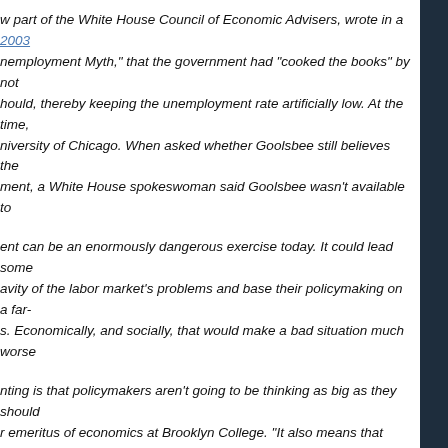w part of the White House Council of Economic Advisers, wrote in a 2003 nemployment Myth," that the government had "cooked the books" by not hould, thereby keeping the unemployment rate artificially low.  At the time, niversity of Chicago.  When asked whether Goolsbee still believes the ment, a White House spokeswoman said Goolsbee wasn't available to
ent can be an enormously dangerous exercise today.  It could lead  some avity of the labor market's problems and base their policymaking on a far-s.  Economically, and socially, that would make a bad situation much worse
nting is that policymakers aren't going to be thinking as big as they should r emeritus of economics at Brooklyn College.  "It also means that be there, because the income from people who are employed isn't going to
recently wrote an article for Bloomberg BusinessWeek, discussing the to the second leg of a "double-dip" recession:
a possible second recession have certainly rattled an already fragile nfidence is now at its lowest level in a year, and consumer spending onsumer spending accounts for more than two-thirds of  U.S. economic